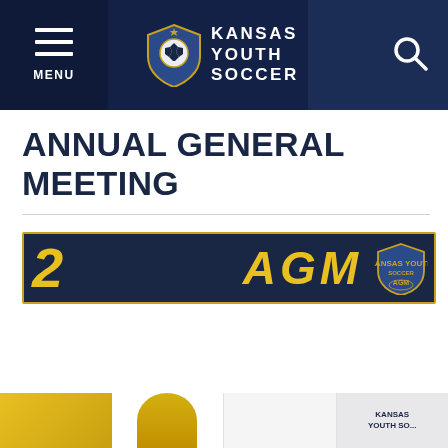Kansas Youth Soccer — MENU navigation bar with logo and search
ANNUAL GENERAL MEETING
[Figure (photo): Partial view of an AGM promotional banner with yellow number '2', large yellow italic 'AGM' text, and a Kansas Youth Soccer AGM badge/shield on a dark navy background with gold border]
[Figure (photo): Bottom row of partially visible thumbnail images showing AGM-related graphics in yellow/gold and navy colors, with Kansas Youth Soccer branding visible on the rightmost thumbnail]